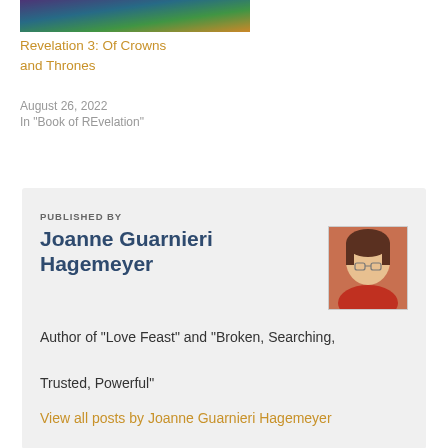[Figure (photo): Book cover image for Revelation 3: Of Crowns and Thrones, colorful stained glass style artwork]
Revelation 3: Of Crowns and Thrones
August 26, 2022
In "Book of REvelation"
PUBLISHED BY
Joanne Guarnieri Hagemeyer
[Figure (photo): Author photo of Joanne Guarnieri Hagemeyer, a woman with short brown hair and glasses, wearing a red top, smiling]
Author of "Love Feast" and "Broken, Searching, Trusted, Powerful"
View all posts by Joanne Guarnieri Hagemeyer